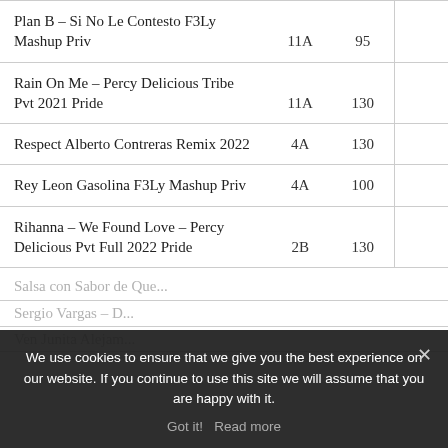|  |  |  |  |
| --- | --- | --- | --- |
| Plan B – Si No Le Contesto F3Ly Mashup Priv | 11A | 95 |  |
| Rain On Me – Percy Delicious Tribe Pvt 2021 Pride | 11A | 130 |  |
| Respect Alberto Contreras Remix 2022 | 4A | 130 |  |
| Rey Leon Gasolina F3Ly Mashup Priv | 4A | 100 |  |
| Rihanna – We Found Love – Percy Delicious Pvt Full 2022 Pride | 2B | 130 |  |
We use cookies to ensure that we give you the best experience on our website. If you continue to use this site we will assume that you are happy with it.
Got it!   Read more